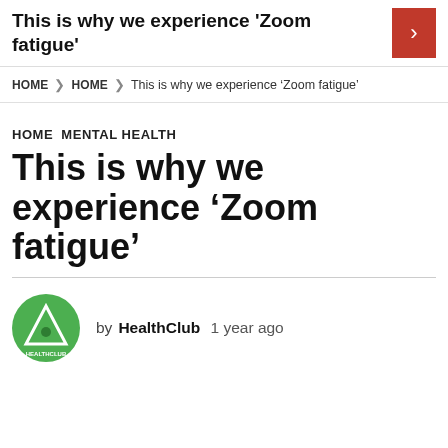This is why we experience 'Zoom fatigue'
HOME > HOME > This is why we experience ‘Zoom fatigue’
HOME  MENTAL HEALTH
This is why we experience ‘Zoom fatigue’
by HealthClub  1 year ago